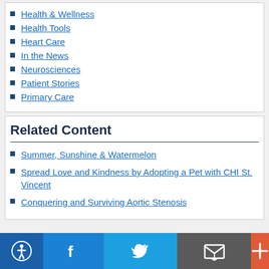Health & Wellness
Health Tools
Heart Care
In the News
Neurosciences
Patient Stories
Primary Care
Related Content
Summer, Sunshine & Watermelon
Spread Love and Kindness by Adopting a Pet with CHI St. Vincent
Conquering and Surviving Aortic Stenosis